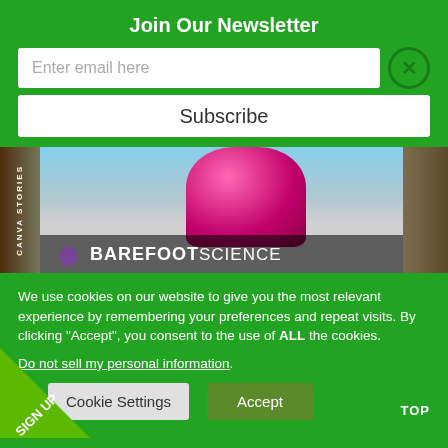Join Our Newsletter
Enter email here
Subscribe
[Figure (photo): Banner image showing BAREFOOTSCIENCE branding with a pink bottle and outdoor background, with 'CANVA STORIES' text on the left side]
We use cookies on our website to give you the most relevant experience by remembering your preferences and repeat visits. By clicking “Accept”, you consent to the use of ALL the cookies.
Do not sell my personal information.
Cookie Settings
Accept
TOP
SIGN UP